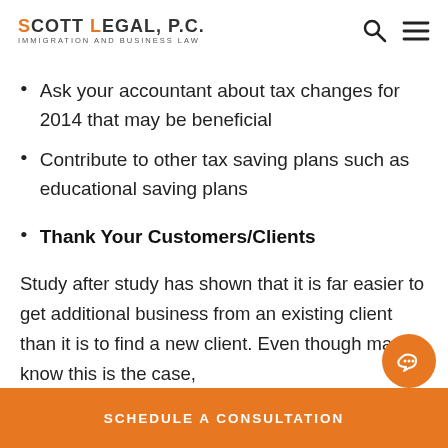SCOTT LEGAL, P.C. IMMIGRATION AND BUSINESS LAW
Ask your accountant about tax changes for 2014 that may be beneficial
Contribute to other tax saving plans such as educational saving plans
Thank Your Customers/Clients
Study after study has shown that it is far easier to get additional business from an existing client than it is to find a new client. Even though many know this is the case,
SCHEDULE A CONSULTATION